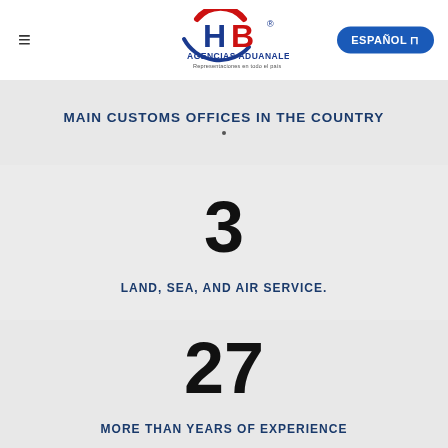≡  HB AGENCIAS ADUANALES Representaciones en todo el país  ESPAÑOL
MAIN CUSTOMS OFFICES IN THE COUNTRY
3
LAND, SEA, AND AIR SERVICE.
27
MORE THAN YEARS OF EXPERIENCE